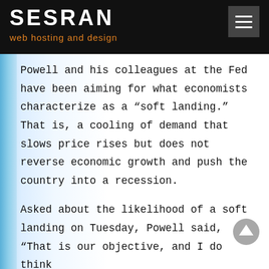SESRAN
web hosting and design
Powell and his colleagues at the Fed have been aiming for what economists characterize as a “soft landing.” That is, a cooling of demand that slows price rises but does not reverse economic growth and push the country into a recession.
Asked about the likelihood of a soft landing on Tuesday, Powell said, “That is our objective, and I do think